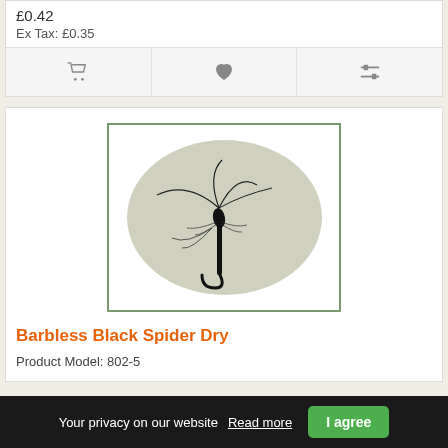£0.42
Ex Tax: £0.35
[Figure (screenshot): Action bar with cart, heart/wishlist, and compare icons]
[Figure (photo): Product photo of Barbless Black Spider Dry fishing fly, shown on oval grey background inside green-bordered frame]
Barbless Black Spider Dry
Product Model: 802-5
Your privacy on our website  Read more  I agree